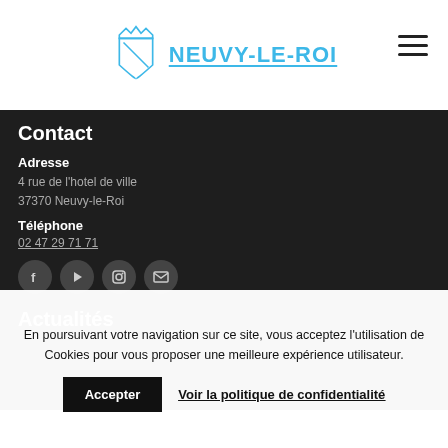NEUVY-LE-ROI
Contact
Adresse
4 rue de l'hotel de ville
37370 Neuvy-le-Roi
Téléphone
02 47 29 71 71
[Figure (other): Social media icons: Facebook, YouTube, Instagram, Email]
Actualités
En poursuivant votre navigation sur ce site, vous acceptez l'utilisation de Cookies pour vous proposer une meilleure expérience utilisateur.
Accepter
Voir la politique de confidentialité